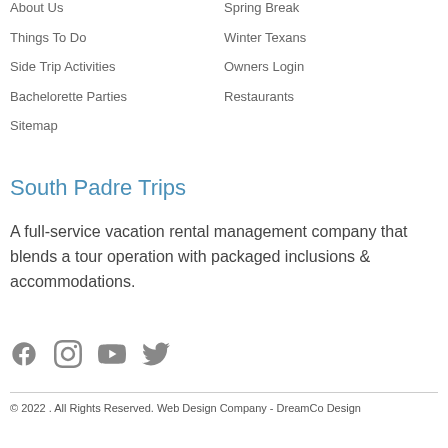About Us
Spring Break
Things To Do
Winter Texans
Side Trip Activities
Owners Login
Bachelorette Parties
Restaurants
Sitemap
South Padre Trips
A full-service vacation rental management company that blends a tour operation with packaged inclusions & accommodations.
[Figure (infographic): Social media icons: Facebook, Instagram, YouTube, Twitter]
© 2022 . All Rights Reserved. Web Design Company - DreamCo Design